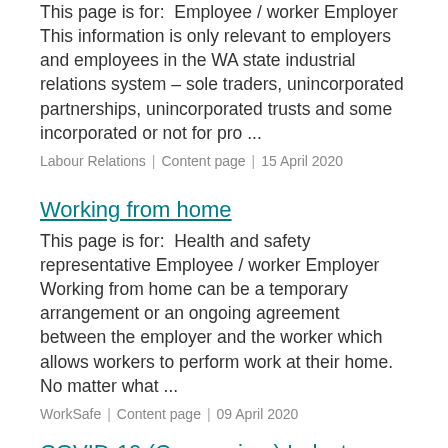This page is for:  Employee / worker Employer  This information is only relevant to employers and employees in the WA state industrial relations system – sole traders, unincorporated partnerships, unincorporated trusts and some incorporated or not for pro ...
Labour Relations  |  Content page  |  15 April 2020
Working from home
This page is for:  Health and safety representative Employee / worker Employer  Working from home can be a temporary arrangement or an ongoing agreement between the employer and the worker which allows workers to perform work at their home.  No matter what ...
WorkSafe  |  Content page  |  09 April 2020
COVID-19 (Coronavirus) Industry specific